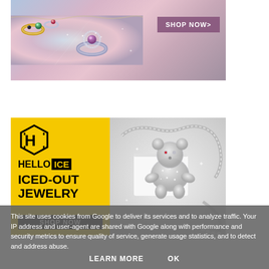[Figure (photo): Top jewelry advertisement banner showing sparkling rings on a purple-pink gradient background with a 'SHOP NOW>' button]
[Figure (photo): Hello Ice iced-out jewelry advertisement with yellow background on left showing logo and 'ICED-OUT JEWELRY' text with SHOP NOW button, and a diamond-encrusted teddy bear necklace on the right]
This site uses cookies from Google to deliver its services and to analyze traffic. Your IP address and user-agent are shared with Google along with performance and security metrics to ensure quality of service, generate usage statistics, and to detect and address abuse.
LEARN MORE   OK